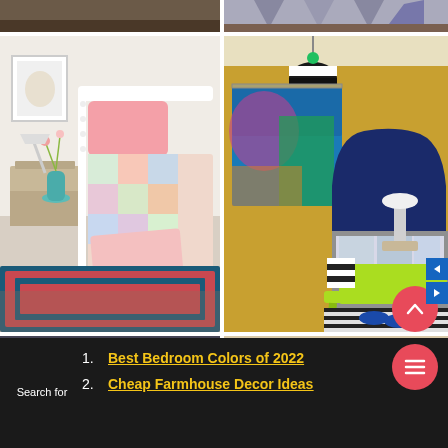[Figure (photo): Top-left partial view of a bedroom with dark carpet/floor, cropped]
[Figure (photo): Top-right partial view of a room with geometric patterned wallpaper and brick wall]
[Figure (photo): Farmhouse-style bedroom with white spindle bed, pink pillows, patchwork quilt, teal vase with flowers on wooden nightstand, colorful Persian rug]
[Figure (photo): Bright bedroom with navy blue upholstered headboard, yellow/gold wallpapered walls, colorful abstract painting, green bench with lime green throw, striped rug, black and white striped pendant light]
[Figure (photo): Bottom-left partial view of bedroom with string lights on dark ceiling]
[Figure (photo): Bottom-right partial view of a room with beige/tan upholstered wall or headboard]
Search for
1. Best Bedroom Colors of 2022
2. Cheap Farmhouse Decor Ideas